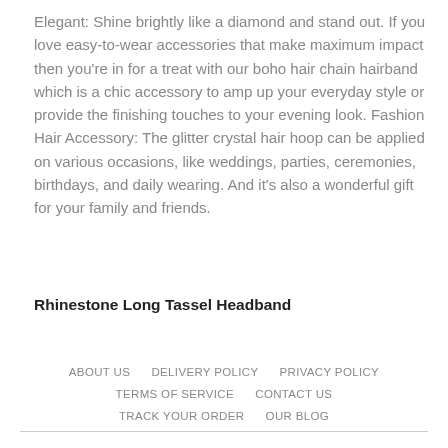Elegant: Shine brightly like a diamond and stand out. If you love easy-to-wear accessories that make maximum impact then you're in for a treat with our boho hair chain hairband which is a chic accessory to amp up your everyday style or provide the finishing touches to your evening look. Fashion Hair Accessory: The glitter crystal hair hoop can be applied on various occasions, like weddings, parties, ceremonies, birthdays, and daily wearing. And it's also a wonderful gift for your family and friends.
Rhinestone Long Tassel Headband
ABOUT US   DELIVERY POLICY   PRIVACY POLICY   TERMS OF SERVICE   CONTACT US   TRACK YOUR ORDER   OUR BLOG